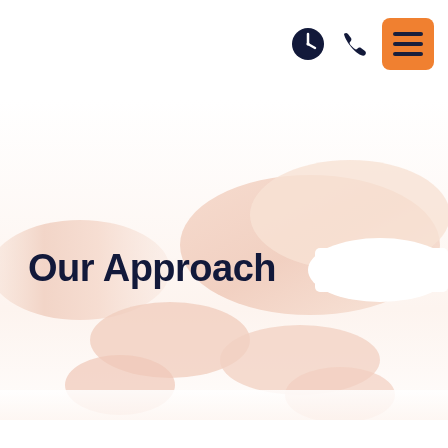[Figure (other): Navigation header icons: clock icon, phone icon, and orange hamburger menu button]
[Figure (photo): Close-up photo of smooth female legs lying on a white surface, wearing white underwear — used as hero background image for a medical/beauty treatment website]
Our Approach